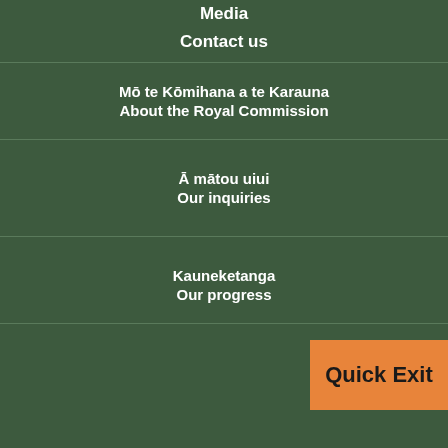Media
Contact us
Mō te Kōmihana a te Karauna
About the Royal Commission
Ā mātou uiui
Our inquiries
Quick Exit
Kauneketanga
Our progress